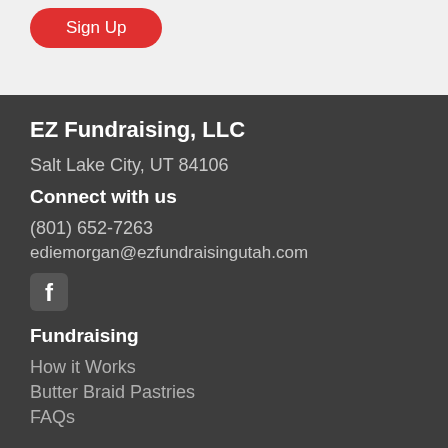[Figure (other): Red rounded Sign Up button on light grey background]
EZ Fundraising, LLC
Salt Lake City, UT 84106
Connect with us
(801) 652-7263
ediemorgan@ezfundraisingutah.com
[Figure (logo): Facebook icon (white F on rounded square)]
Fundraising
How it Works
Butter Braid Pastries
FAQs